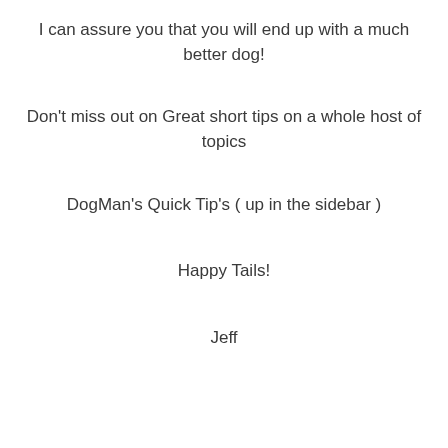I can assure you that you will end up with a much better dog!
Don't miss out on Great short tips on a whole host of topics
DogMan's Quick Tip's ( up in the sidebar )
Happy Tails!
Jeff